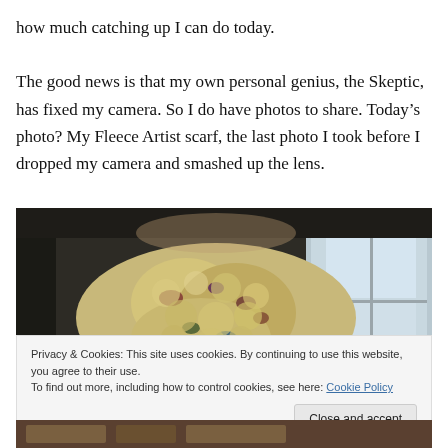how much catching up I can do today.

The good news is that my own personal genius, the Skeptic, has fixed my camera. So I do have photos to share. Today’s photo? My Fleece Artist scarf, the last photo I took before I dropped my camera and smashed up the lens.
[Figure (photo): Photo of a person wearing a textured, chunky knit Fleece Artist scarf in cream/beige tones with colorful flecks, taken indoors with a window visible in the background.]
Privacy & Cookies: This site uses cookies. By continuing to use this website, you agree to their use.
To find out more, including how to control cookies, see here: Cookie Policy
Close and accept